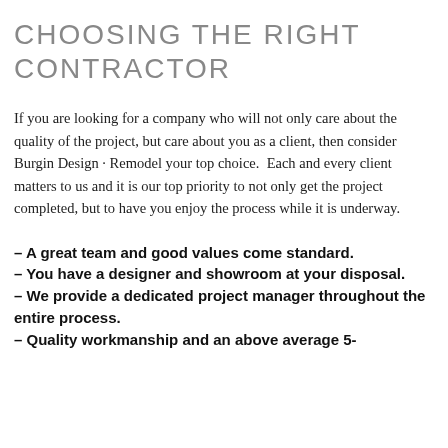CHOOSING THE RIGHT CONTRACTOR
If you are looking for a company who will not only care about the quality of the project, but care about you as a client, then consider Burgin Design · Remodel your top choice.  Each and every client matters to us and it is our top priority to not only get the project completed, but to have you enjoy the process while it is underway.
– A great team and good values come standard.
– You have a designer and showroom at your disposal.
– We provide a dedicated project manager throughout the entire process.
– Quality workmanship and an above average 5-